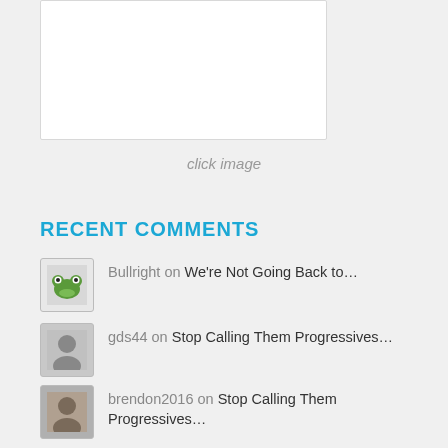[Figure (other): White image placeholder box]
click image
RECENT COMMENTS
Bullright on We're Not Going Back to…
gds44 on Stop Calling Them Progressives…
brendon2016 on Stop Calling Them Progressives…
brendon2016 on High-Ranking Chinese Defector…
brendon2016 on CNN Admits 2022 Red Wave Could…